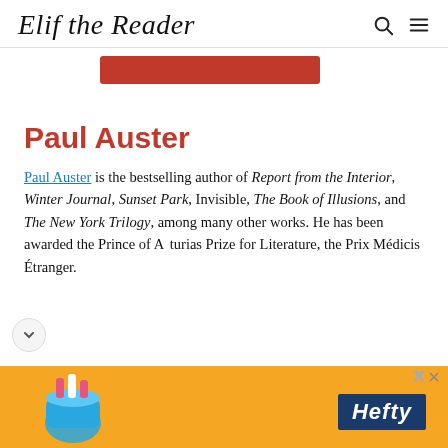Elif the Reader
[Figure (other): Red button/banner bar partially visible]
Paul Auster
Paul Auster is the bestselling author of Report from the Interior, Winter Journal, Sunset Park, Invisible, The Book of Illusions, and The New York Trilogy, among many other works. He has been awarded the Prince of Asturias Prize for Literature, the Prix Médicis Étranger.
[Figure (other): Hefty advertisement banner with orange background and product image]